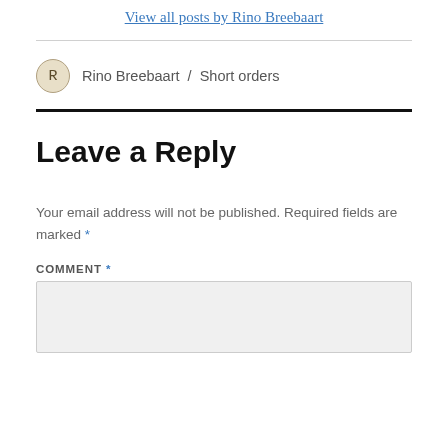View all posts by Rino Breebaart
Rino Breebaart / Short orders
Leave a Reply
Your email address will not be published. Required fields are marked *
COMMENT *